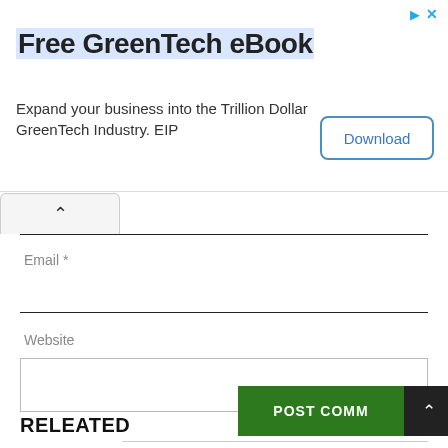[Figure (other): Advertisement banner: Free GreenTech eBook with Download button. Text: 'Expand your business into the Trillion Dollar GreenTech Industry. EIP']
Email *
Website
POST COMM
RELEATED